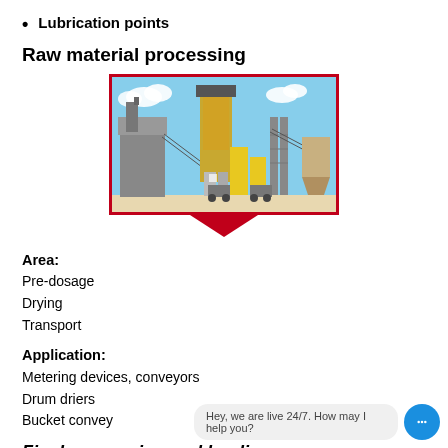Lubrication points
Raw material processing
[Figure (illustration): Industrial raw material processing facility illustration showing silos, conveyor belts, dryers, and transport equipment against a blue sky background, framed with a red border and red downward-pointing triangle below.]
Area:
Pre-dosage
Drying
Transport
Application:
Metering devices, conveyors
Drum driers
Bucket conveyors
Final processing and loading